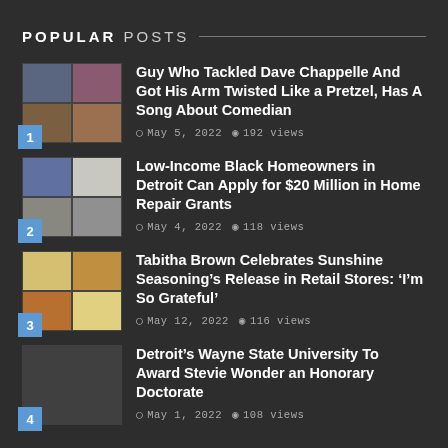POPULAR POSTS
Guy Who Tackled Dave Chappelle And Got His Arm Twisted Like a Pretzel, Has A Song About Comedian
Low-Income Black Homeowners in Detroit Can Apply for $20 Million in Home Repair Grants
Tabitha Brown Celebrates Sunshine Seasoning’s Release in Retail Stores: ‘I’m So Grateful’
Detroit’s Wayne State University To Award Stevie Wonder an Honorary Doctorate